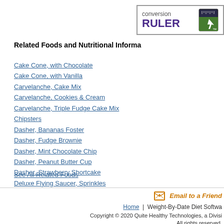[Figure (logo): Conversion Ruler logo with ruler icon and green element]
Related Foods and Nutritional Informa
Cake Cone, with Chocolate
Cake Cone, with Vanilla
Carvelanche, Cake Mix
Carvelanche, Cookies & Cream
Carvelanche, Triple Fudge Cake Mix
Chipsters
Dasher, Bananas Foster
Dasher, Fudge Brownie
Dasher, Mint Chocolate Chip
Dasher, Peanut Butter Cup
Dasher, Strawberry Shortcake
Deluxe Flying Saucer, Sprinkles
See All Related Foods
Email to a Friend
Home | Weight-By-Date Diet Softwa
Copyright © 2020 Quite Healthy Technologies, a Divisi
All rights reserved.